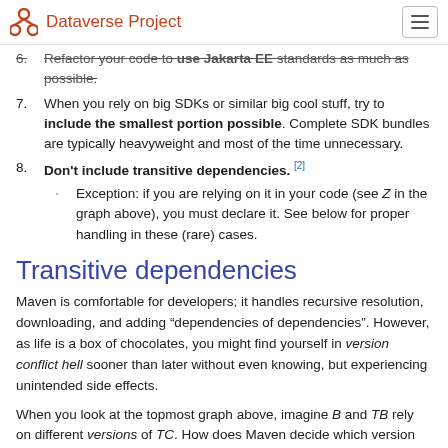Dataverse Project
Refactor your code to use Jakarta EE standards as much as possible.
When you rely on big SDKs or similar big cool stuff, try to include the smallest portion possible. Complete SDK bundles are typically heavyweight and most of the time unnecessary.
Don't include transitive dependencies. [2]
Exception: if you are relying on it in your code (see Z in the graph above), you must declare it. See below for proper handling in these (rare) cases.
Transitive dependencies
Maven is comfortable for developers; it handles recursive resolution, downloading, and adding “dependencies of dependencies”. However, as life is a box of chocolates, you might find yourself in version conflict hell sooner than later without even knowing, but experiencing unintended side effects.
When you look at the topmost graph above, imagine B and TB rely on different versions of TC. How does Maven decide which version